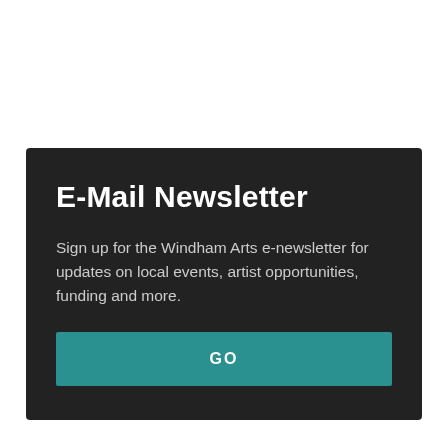E-Mail Newsletter
Sign up for the Windham Arts e-newsletter for updates on local events, artist opportunities, funding and more.
GO